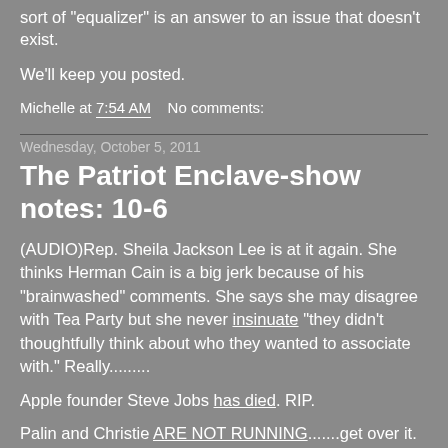sort of "equalizer" is an answer to an issue that doesn't exist.
We'll keep you posted.
Michelle at 7:54 AM    No comments:
Wednesday, October 5, 2011
The Patriot Enclave-show notes: 10-6
(AUDIO)Rep. Sheila Jackson Lee is at it again. She thinks Herman Cain is a big jerk because of his "brainwashed" comments. She says she may disagree with Tea Party but she never insinuate "they didn't thoughtfully think about who they wanted to associate with." Really.........
Apple founder Steve Jobs has died. RIP.
Palin and Christie ARE NOT RUNNING.......get over it.
(AUDIO) Herman Cain thinks the Occupy Wall Street movement needs to get a clue. Speaking of Occupy Wall